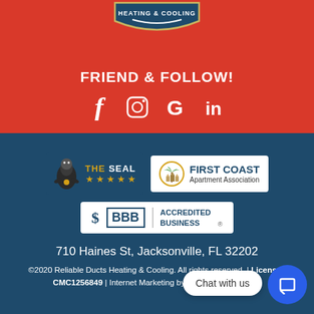[Figure (logo): Heating & Cooling company logo shield at top of red banner]
FRIEND & FOLLOW!
[Figure (logo): Social media icons: Facebook, Instagram, Google, LinkedIn]
[Figure (logo): The Seal badge with 5 gold stars]
[Figure (logo): First Coast Apartment Association logo]
[Figure (logo): BBB Accredited Business logo]
710 Haines St, Jacksonville, FL 32202
©2020 Reliable Ducts Heating & Cooling. All rights reserved. | License# CMC1256849 | Internet Marketing by THAT Company, Inc.